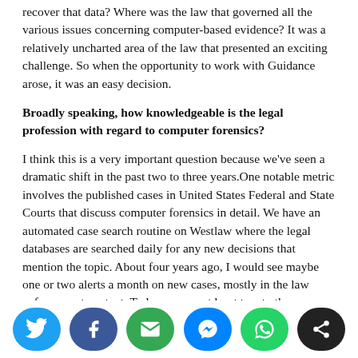recover that data? Where was the law that governed all the various issues concerning computer-based evidence? It was a relatively uncharted area of the law that presented an exciting challenge. So when the opportunity to work with Guidance arose, it was an easy decision.
Broadly speaking, how knowledgeable is the legal profession with regard to computer forensics?
I think this is a very important question because we've seen a dramatic shift in the past two to three years.One notable metric involves the published cases in United States Federal and State Courts that discuss computer forensics in detail. We have an automated case search routine on Westlaw where the legal databases are searched daily for any new decisions that mention the topic. About four years ago, I would see maybe one or two alerts a month on new cases, mostly in the law enforcement context. Today, we see at least two to three new cases each day, and they are evenly
[Figure (infographic): Social media sharing buttons: Twitter (blue), Facebook (dark blue), Email (green), Messenger (blue), WhatsApp (green), Share (black)]